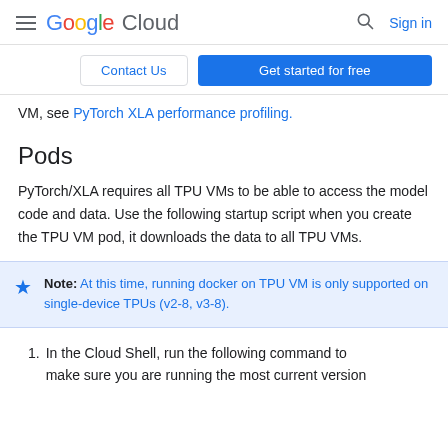Google Cloud  Sign in
Contact Us  Get started for free
VM, see PyTorch XLA performance profiling.
Pods
PyTorch/XLA requires all TPU VMs to be able to access the model code and data. Use the following startup script when you create the TPU VM pod, it downloads the data to all TPU VMs.
Note: At this time, running docker on TPU VM is only supported on single-device TPUs (v2-8, v3-8).
1. In the Cloud Shell, run the following command to make sure you are running the most current version